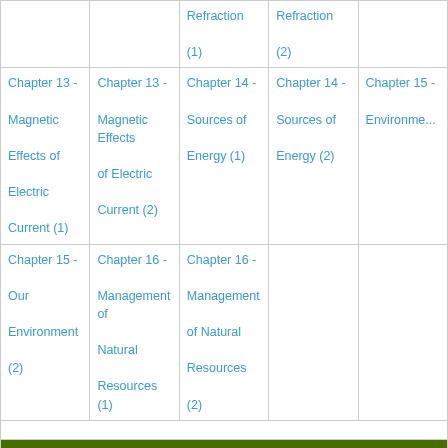| Col1 | Col2 | Col3 | Col4 | Col5 |
| --- | --- | --- | --- | --- |
|  |  | Refraction (1) | Refraction (2) |  |
| Chapter 13 - Magnetic Effects of Electric Current (1) | Chapter 13 - Magnetic Effects of Electric Current (2) | Chapter 14 - Sources of Energy (1) | Chapter 14 - Sources of Energy (2) | Chapter 15 - Environment... |
| Chapter 15 - Our Environment (2) | Chapter 16 - Management of Natural Resources (1) | Chapter 16 - Management of Natural Resources (2) |  |  |
NCERT Solution
| Col1 | Col2 | Col3 | Col4 | Col5 |
| --- | --- | --- | --- | --- |
| Chapter 3 - Metals and Non-Metals | Chapter 5 - Periodic Classification of... | Chapter 6 - Life Processes | Chapter 6 - Life Processes | Chapter 7 - Control and Coordination... |